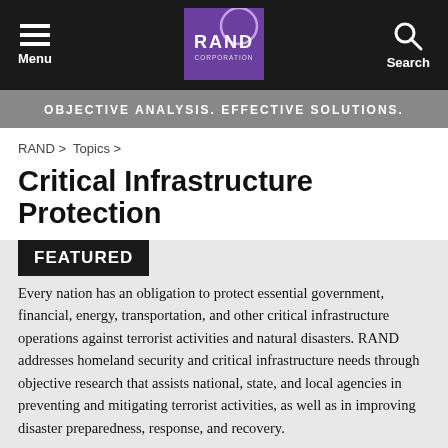Menu | RAND Corporation | Search
OBJECTIVE ANALYSIS. EFFECTIVE SOLUTIONS.
RAND > Topics >
Critical Infrastructure Protection
FEATURED
Every nation has an obligation to protect essential government, financial, energy, transportation, and other critical infrastructure operations against terrorist activities and natural disasters. RAND addresses homeland security and critical infrastructure needs through objective research that assists national, state, and local agencies in preventing and mitigating terrorist activities, as well as in improving disaster preparedness, response, and recovery.
[Figure (photo): Outdoor photo showing trees and possibly infrastructure, partially visible at bottom of page]